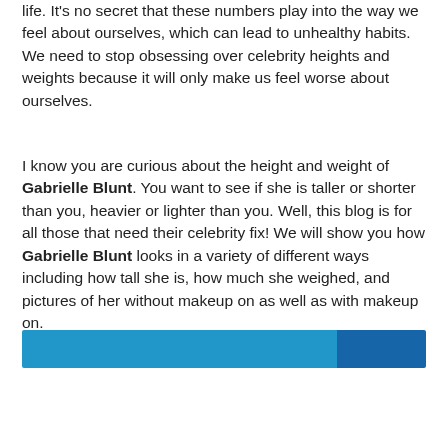life. It's no secret that these numbers play into the way we feel about ourselves, which can lead to unhealthy habits. We need to stop obsessing over celebrity heights and weights because it will only make us feel worse about ourselves.
I know you are curious about the height and weight of Gabrielle Blunt. You want to see if she is taller or shorter than you, heavier or lighter than you. Well, this blog is for all those that need their celebrity fix! We will show you how Gabrielle Blunt looks in a variety of different ways including how tall she is, how much she weighed, and pictures of her without makeup on as well as with makeup on.
[Figure (other): A two-tone horizontal progress/divider bar — left portion in medium blue (~78% width) and right portion in darker blue (~22% width)]